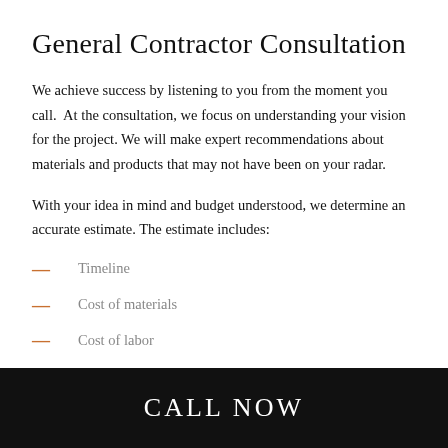General Contractor Consultation
We achieve success by listening to you from the moment you call.  At the consultation, we focus on understanding your vision for the project. We will make expert recommendations about materials and products that may not have been on your radar.
With your idea in mind and budget understood, we determine an accurate estimate. The estimate includes:
Timeline
Cost of materials
Cost of labor
Cost of specialized equipment
CALL NOW